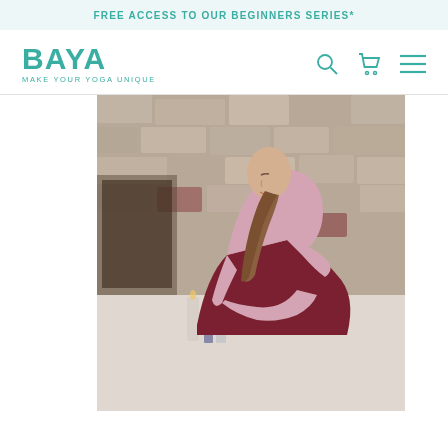FREE ACCESS TO OUR BEGINNERS SERIES*
[Figure (logo): BAYA yoga brand logo with tagline MAKE YOUR YOGA UNIQUE in teal]
[Figure (photo): Woman in pink top and dark red yoga pants performing a deep backbend/forward bend yoga pose in a studio with stone wall background and candles]